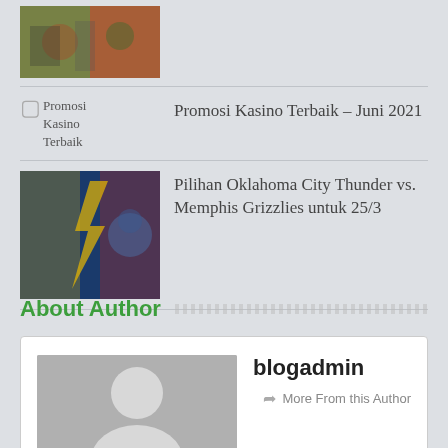[Figure (photo): Top image: colorful crowd/event photo thumbnail]
Promosi Kasino Terbaik – Juni 2021
Pilihan Oklahoma City Thunder vs. Memphis Grizzlies untuk 25/3
About Author
blogadmin
More From this Author